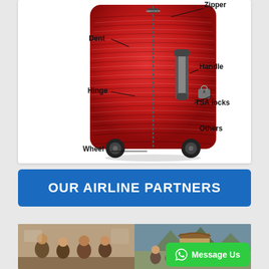[Figure (illustration): Diagram of a red hard-shell suitcase with labeled parts: Zipper (top right), Dent (top left), Handle (middle right), Hinge (middle left), TSA locks (right), Others (lower right), Wheel (bottom left)]
OUR AIRLINE PARTNERS
[Figure (photo): Two side-by-side photos: left shows people gathered indoors at a table, right shows a group of people outdoors with a traditional building and mountains in background]